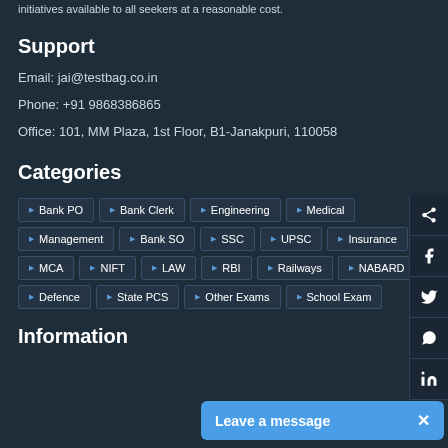initiatives available to all seekers at a reasonable cost.
Support
Email: jai@testbag.co.in
Phone: +91 9868386865
Office: 101, MM Plaza, 1st Floor, B1-Janakpuri, 110058
Categories
Bank PO
Bank Clerk
Engineering
Medical
Management
Bank SO
SSC
UPSC
Insurance
MCA
NIFT
LAW
RBI
Railways
NABARD
Defence
State PCS
Other Exams
School Exam
Information
Leave a message